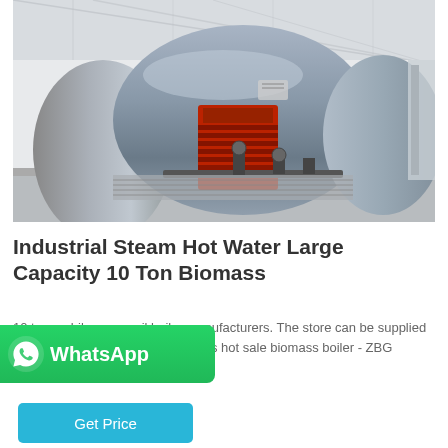[Figure (photo): Industrial steam boiler unit in a factory/warehouse setting. Large cylindrical gray metallic boiler with red burner section visible at center, additional equipment on the right side, pipes at the bottom, inside a building with white ceiling and gray floor.]
Industrial Steam Hot Water Large Capacity 10 Ton Biomass
10 ton mobile gas or oil boiler manufacturers. The store can be supplied by the boiler manufacturer or ves hot sale biomass boiler - ZBG fired 10 ton mobile gas or oil boil...